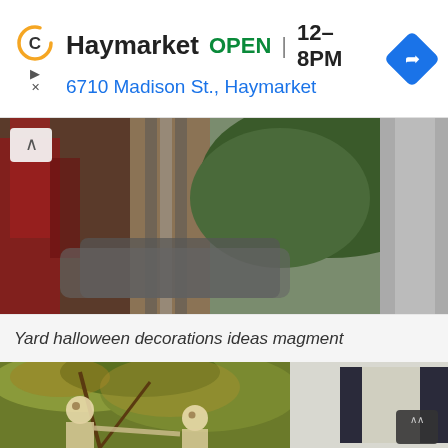Haymarket  OPEN  12–8PM  6710 Madison St., Haymarket
[Figure (photo): Outdoor scene showing a yard with Halloween decorations, trees with red hanging decorations, cars in background, parked near houses. Upward chevron button visible top-left.]
Yard halloween decorations ideas magment
[Figure (photo): Yard Halloween decorations with autumn tree branches overhead and a house with dark shutters. Two skeleton figures visible in the lower foreground.]